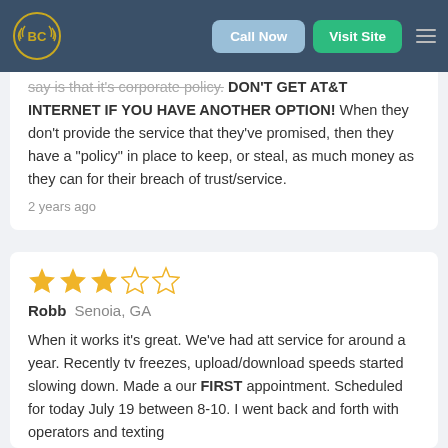[Figure (screenshot): Navigation bar with BC logo, Call Now button, Visit Site button, and hamburger menu on dark blue background]
say is that it's corporate policy. DON'T GET AT&T INTERNET IF YOU HAVE ANOTHER OPTION! When they don't provide the service that they've promised, then they have a "policy" in place to keep, or steal, as much money as they can for their breach of trust/service.
2 years ago
[Figure (other): 3 out of 5 stars rating]
Robb  Senoia, GA
When it works it's great. We've had att service for around a year. Recently tv freezes, upload/download speeds started slowing down. Made a our FIRST appointment. Scheduled for today July 19 between 8-10. I went back and forth with operators and texting